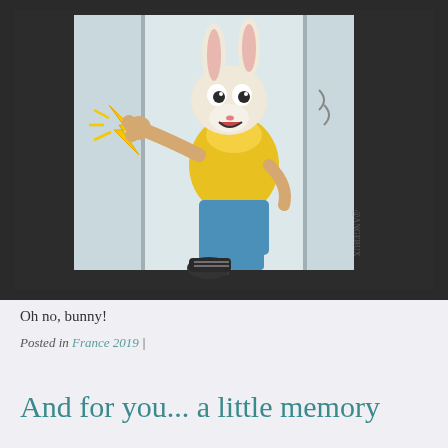[Figure (photo): Photo of a cartoon sticker on a glass surface showing a cartoon bunny character wearing a yellow shirt and blue pants, getting its hand caught/zapped (shown with yellow lightning bolt) in what appears to be a door or gate, with a surprised expression.]
Oh no, bunny!
Posted in France 2019 |
And for you... a little memory